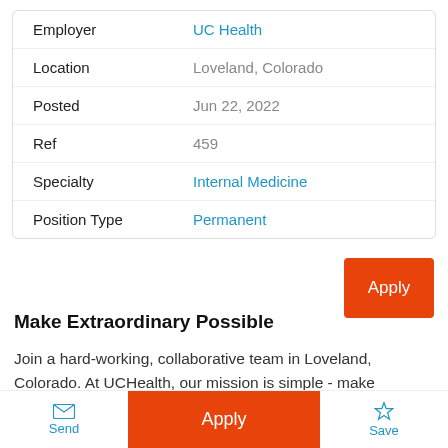| Field | Value |
| --- | --- |
| Employer | UC Health |
| Location | Loveland, Colorado |
| Posted | Jun 22, 2022 |
| Ref | 459 |
| Specialty | Internal Medicine |
| Position Type | Permanent |
Make Extraordinary Possible
Join a hard-working, collaborative team in Loveland, Colorado. At UCHealth, our mission is simple - make extraordinary possible. That starts with you. We help